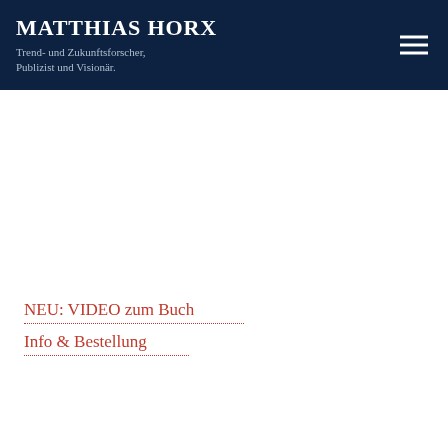MATTHIAS HORX — Trend- und Zukunftsforscher, Publizist und Visionär.
NEU: VIDEO zum Buch
Info & Bestellung